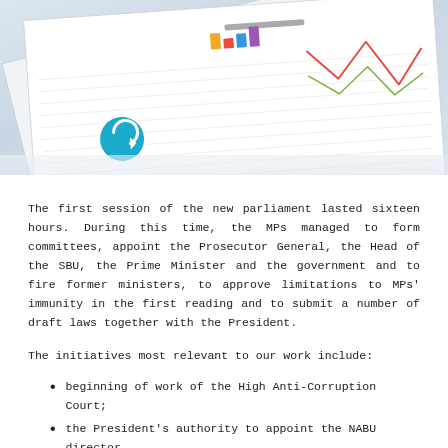[Figure (photo): Overhead photo of printed financial/business report documents with line charts and bar charts visible, along with a teal circular logo/icon on one of the sheets]
The first session of the new parliament lasted sixteen hours. During this time, the MPs managed to form committees, appoint the Prosecutor General, the Head of the SBU, the Prime Minister and the government and to fire former ministers, to approve limitations to MPs' immunity in the first reading and to submit a number of draft laws together with the President.
The initiatives most relevant to our work include:
beginning of work of the High Anti-Corruption Court;
the President's authority to appoint the NABU director